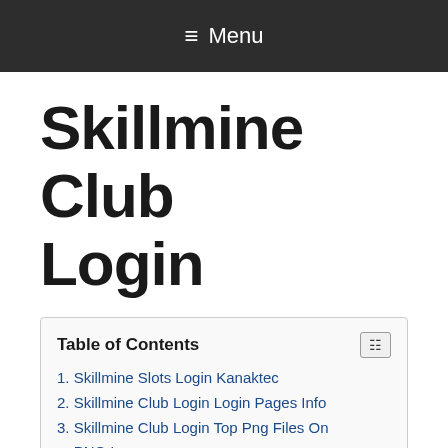≡ Menu
Skillmine Club Login
Table of Contents
1. Skillmine Slots Login Kanaktec
2. Skillmine Club Login Login Pages Info
3. Skillmine Club Login Top Png Files On PNG Is
4. Username Password SkillMine
5. SkillMine
6. Skillmine Club Online Games Sur Ly
7. Skillmine Slots Login ...